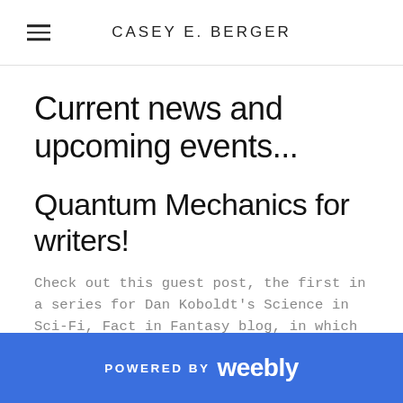CASEY E. BERGER
Current news and upcoming events...
Quantum Mechanics for writers!
Check out this guest post, the first in a series for Dan Koboldt's Science in Sci-Fi, Fact in Fantasy blog, in which I nerd out about quantum mechanics and science fiction!
READ IT HERE!
POWERED BY weebly